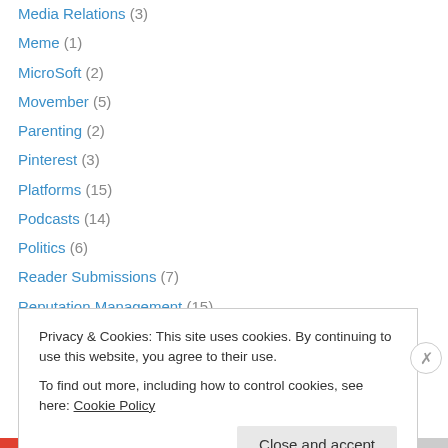Media Relations (3)
Meme (1)
MicroSoft (2)
Movember (5)
Parenting (2)
Pinterest (3)
Platforms (15)
Podcasts (14)
Politics (6)
Reader Submissions (7)
Reputation Management (15)
RIM (1)
Rogers Communications (3)
ROI (6)
Privacy & Cookies: This site uses cookies. By continuing to use this website, you agree to their use.
To find out more, including how to control cookies, see here: Cookie Policy
Close and accept